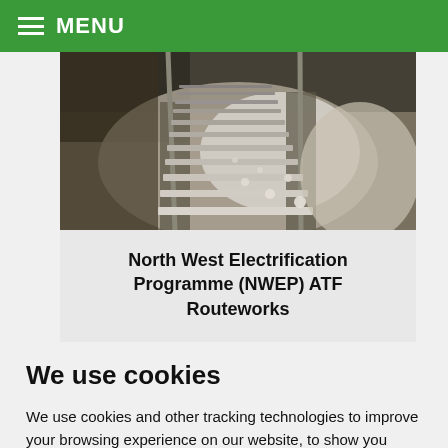MENU
[Figure (photo): Aerial/close-up view of railway tracks with gravel ballast and white sleepers, looking down the track perspective]
North West Electrification Programme (NWEP) ATF Routeworks
We use cookies
We use cookies and other tracking technologies to improve your browsing experience on our website, to show you personalized content and targeted ads, to analyze our website traffic, and